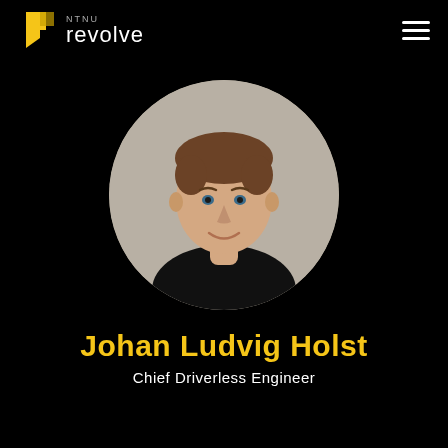[Figure (logo): NTNU Revolve logo with yellow geometric shape and white text]
[Figure (photo): Circular portrait photo of Johan Ludvig Holst, a young man with brown hair wearing a black shirt, smiling against a light grey background]
Johan Ludvig Holst
Chief Driverless Engineer